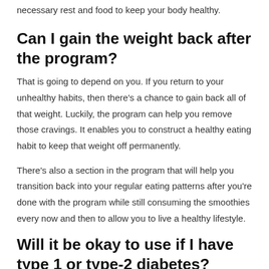necessary rest and food to keep your body healthy.
Can I gain the weight back after the program?
That is going to depend on you. If you return to your unhealthy habits, then there's a chance to gain back all of that weight. Luckily, the program can help you remove those cravings. It enables you to construct a healthy eating habit to keep that weight off permanently.
There's also a section in the program that will help you transition back into your regular eating patterns after you're done with the program while still consuming the smoothies every now and then to allow you to live a healthy lifestyle.
Will it be okay to use if I have type 1 or type-2 diabetes?